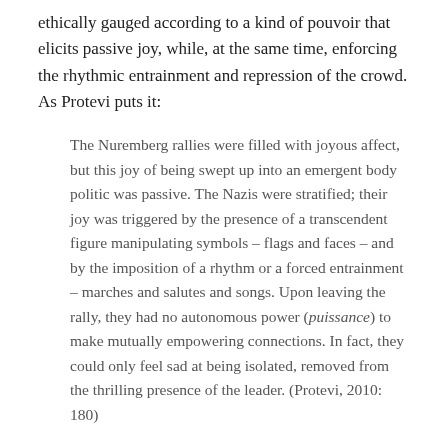ethically gauged according to a kind of pouvoir that elicits passive joy, while, at the same time, enforcing the rhythmic entrainment and repression of the crowd. As Protevi puts it:
The Nuremberg rallies were filled with joyous affect, but this joy of being swept up into an emergent body politic was passive. The Nazis were stratified; their joy was triggered by the presence of a transcendent figure manipulating symbols – flags and faces – and by the imposition of a rhythm or a forced entrainment – marches and salutes and songs. Upon leaving the rally, they had no autonomous power (puissance) to make mutually empowering connections. In fact, they could only feel sad at being isolated, removed from the thrilling presence of the leader. (Protevi, 2010: 180)
The marketers of early fascist joy also understood that conventional party politics, or indeed totalitarianism, was never going to be something that the population desired.